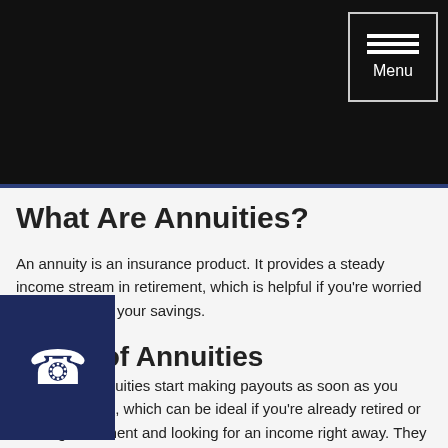Menu
What Are Annuities?
An annuity is an insurance product. It provides a steady income stream in retirement, which is helpful if you're worried about outliving your savings.
Types of Annuities
There are two main types of annuities.
Immediate annuities start making payouts as soon as you purchase them, which can be ideal if you're already retired or nearing retirement and looking for an income right away. They usually require a one-time lump sum contribution.